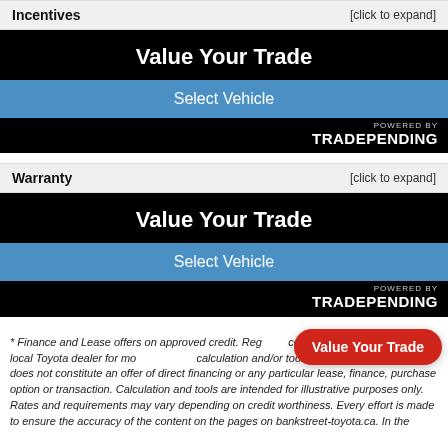Incentives [click to expand]
[Figure (screenshot): Value Your Trade widget with black background, blue 'Select Vehicle' button, and 'Powered by TRADEPENDING' branding]
Warranty [click to expand]
[Figure (screenshot): Value Your Trade widget with black background, blue 'Select Vehicle' button, and 'Powered by TRADEPENDING' branding]
* Finance and Lease offers on approved credit. Reg conditions apply. See your local Toyota dealer for mo calculation and/or tools on bankstreet-toyota.ca does not constitute an offer of direct financing or any particular lease, finance, purchase option or transaction. Calculation and tools are intended for illustrative purposes only. Rates and requirements may vary depending on credit worthiness. Every effort is made to ensure the accuracy of the content on the pages on bankstreet-toyota.ca. In the